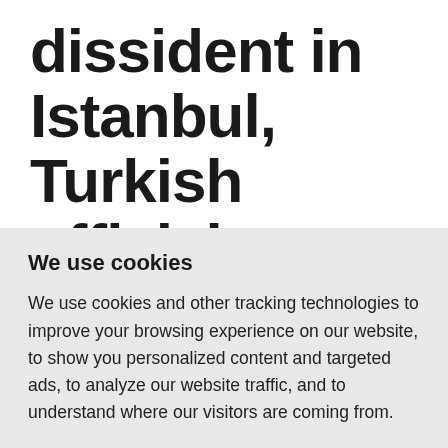dissident in Istanbul, Turkish officials say
by Reuters
We use cookies
We use cookies and other tracking technologies to improve your browsing experience on our website, to show you personalized content and targeted ads, to analyze our website traffic, and to understand where our visitors are coming from.